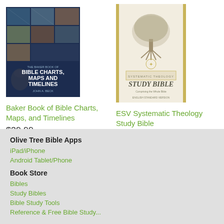[Figure (illustration): Book cover of 'The Baker Book of Bible Charts, Maps and Timelines' by John A. Beck, dark blue cover with map imagery]
Baker Book of Bible Charts, Maps, and Timelines
$39.99
[Figure (illustration): Book cover of 'ESV Systematic Theology Study Bible', cream/ivory cover with a tree illustration]
ESV Systematic Theology Study Bible
$39.99
Olive Tree Bible Apps
iPad/iPhone
Android Tablet/Phone
Book Store
Bibles
Study Bibles
Bible Study Tools
Reference & Free Bible Study...